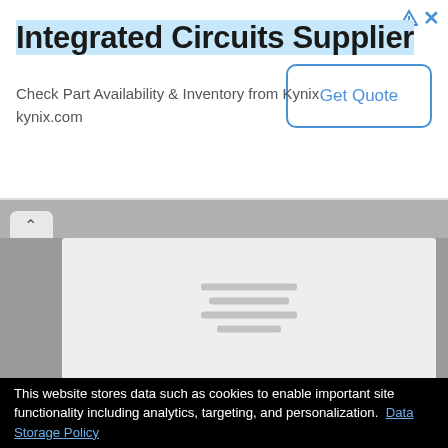Integrated Circuits Supplier
Check Part Availability & Inventory from Kynix
kynix.com
[Figure (screenshot): Web browser tab/UI area showing a partially loaded page with gray background and loading placeholder lines in center]
This website stores data such as cookies to enable important site functionality including analytics, targeting, and personalization.  Data Storage Policy